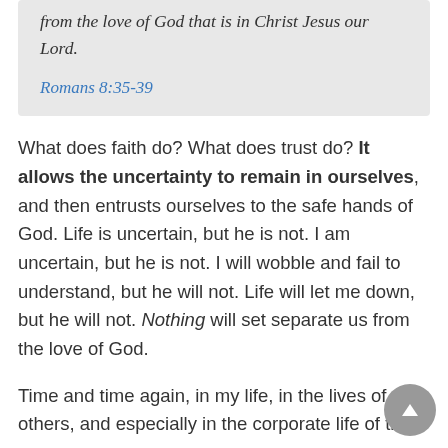from the love of God that is in Christ Jesus our Lord.
Romans 8:35-39
What does faith do? What does trust do? It allows the uncertainty to remain in ourselves, and then entrusts ourselves to the safe hands of God. Life is uncertain, but he is not. I am uncertain, but he is not. I will wobble and fail to understand, but he will not. Life will let me down, but he will not. Nothing will set separate us from the love of God.
Time and time again, in my life, in the lives of others, and especially in the corporate life of the